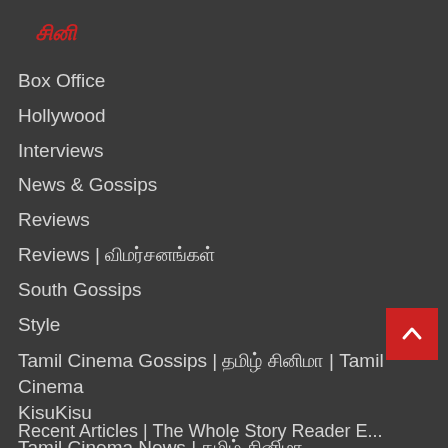சினி
Box Office
Hollywood
Interviews
News & Gossips
Reviews
Reviews | விமர்சனங்கள்
South Gossips
Style
Tamil Cinema Gossips | தமிழ் சினிமா | Tamil Cinema KisuKisu
Tamil Cinema News | தமிழ் சினிமா
TV
Video
Web Series
Recent Articles | The Whole Story Reader E...